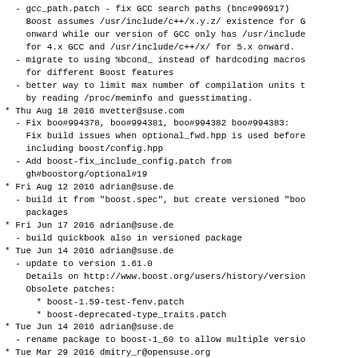- gcc_path.patch - fix GCC search paths (bnc#996917)
    Boost assumes /usr/include/c++/x.y.z/ existence for G
    onward while our version of GCC only has /usr/include
    for 4.x GCC and /usr/include/c++/x/ for 5.x onward.
- migrate to using %bcond_ instead of hardcoding macros
    for different Boost features
- better way to limit max number of compilation units t
    by reading /proc/meminfo and guesstimating.
* Thu Aug 18 2016 mvetter@suse.com
  - Fix boo#994378, boo#994381, boo#994382 boo#994383:
    Fix build issues when optional_fwd.hpp is used before
    including boost/config.hpp
  - Add boost-fix_include_config.patch from
    gh#boostorg/optional#19
* Fri Aug 12 2016 adrian@suse.de
  - build it from "boost.spec", but create versioned "boo
    packages
* Fri Jun 17 2016 adrian@suse.de
  - build quickbook also in versioned package
* Tue Jun 14 2016 adrian@suse.de
  - update to version 1.61.0
    Details on http://www.boost.org/users/history/version
    Obsolete patches:
      * boost-1.59-test-fenv.patch
      * boost-deprecated-type_traits.patch
* Tue Jun 14 2016 adrian@suse.de
  - rename package to boost-1_60 to allow multiple versio
* Tue Mar 29 2016 dmitry_r@opensuse.org
  - Fix build on systems with GCC4
* Sun Feb 14 2016 egeorget@openmailbox.org